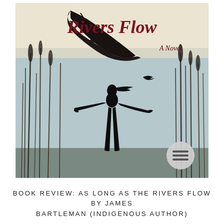[Figure (photo): Book cover of 'As Long As the Rivers Flow' by James Bartleman. The cover shows a dark silhouette of a person with arms outstretched standing in tall reeds/grasses, with a bird (crow/raven) visible in a pale blue sky. In the upper portion, a large dark feather overlays cream/ivory background with the title text in dark red cursive script reading 'Rivers Flow' and subtitle 'A Novel'. A hamburger menu icon (three horizontal lines) appears in a gray circle in the lower right of the cover.]
BOOK REVIEW: AS LONG AS THE RIVERS FLOW BY JAMES BARTLEMAN (INDIGENOUS AUTHOR)